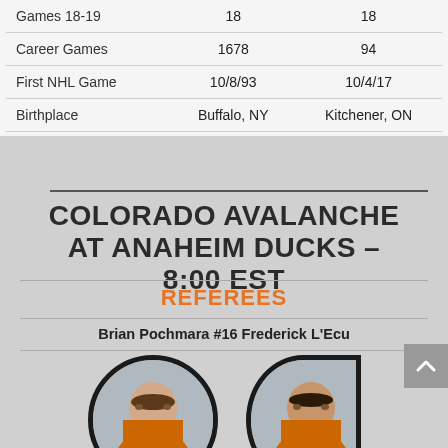|  | Player 1 | Player 2 |
| --- | --- | --- |
| Games 18-19 | 18 | 18 |
| Career Games | 1678 | 94 |
| First NHL Game | 10/8/93 | 10/4/17 |
| Birthplace | Buffalo, NY | Kitchener, ON |
COLORADO AVALANCHE AT ANAHEIM DUCKS – 8:00 EST
REFEREES
Brian Pochmara #16 Frederick L'Ecu
[Figure (photo): Headshot photo of referee in circular frame with dark border, number 16 visible on jersey]
[Figure (photo): Headshot photo of second referee in circular frame with dark border, partially cropped]